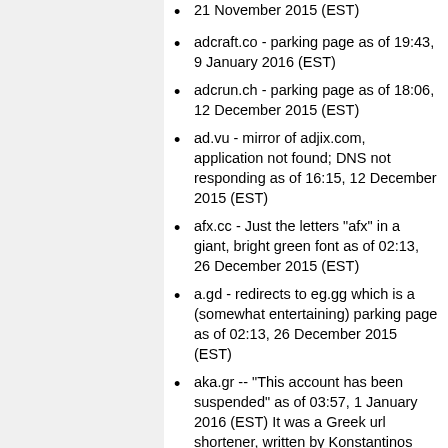21 November 2015 (EST)
adcraft.co - parking page as of 19:43, 9 January 2016 (EST)
adcrun.ch - parking page as of 18:06, 12 December 2015 (EST)
ad.vu - mirror of adjix.com, application not found; DNS not responding as of 16:15, 12 December 2015 (EST)
afx.cc - Just the letters "afx" in a giant, bright green font as of 02:13, 26 December 2015 (EST)
a.gd - redirects to eg.gg which is a (somewhat entertaining) parking page as of 02:13, 26 December 2015 (EST)
aka.gr -- "This account has been suspended" as of 03:57, 1 January 2016 (EST) It was a Greek url shortener, written by Konstantinos